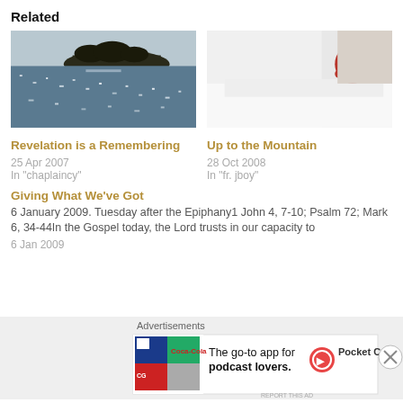Related
[Figure (photo): Scenic water/lake view with island silhouette and sparkling reflections]
Revelation is a Remembering
25 Apr 2007
In "chaplaincy"
[Figure (photo): Person in red sweater sitting near white bedding, looking sideways]
Up to the Mountain
28 Oct 2008
In "fr. jboy"
Giving What We've Got
6 January 2009. Tuesday after the Epiphany1 John 4, 7-10; Psalm 72; Mark 6, 34-44In the Gospel today, the Lord trusts in our capacity to
6 Jan 2009
Advertisements
[Figure (infographic): Pocket Casts advertisement: The go-to app for podcast lovers. Pocket Casts logo shown.]